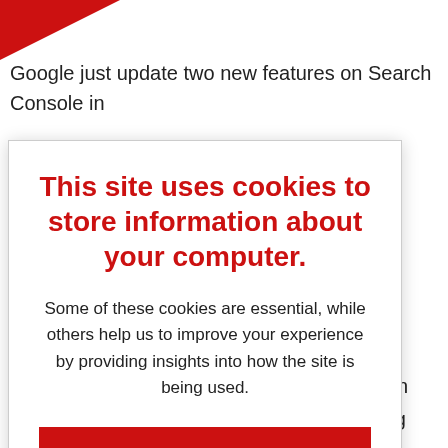[Figure (screenshot): Red triangle graphic in top-left corner of the page]
Google just update two new features on Search Console in
tures
ving
ing
ch
on on
oving
t flow,
proper
within
This site uses cookies to store information about your computer.
Some of these cookies are essential, while others help us to improve your experience by providing insights into how the site is being used.
ACCEPT RECOMMENDED SETTINGS
LEARN MORE